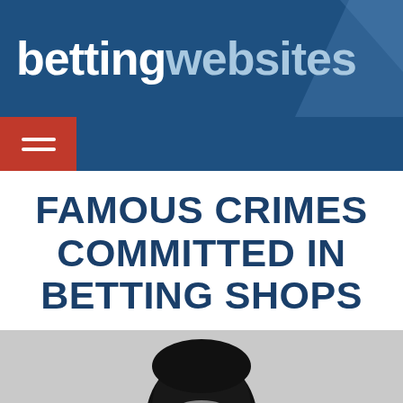bettingwebsites
FAMOUS CRIMES COMMITTED IN BETTING SHOPS
[Figure (photo): Person wearing a black balaclava/ski mask, dark hoodie, photographed against a light grey background from the waist up]